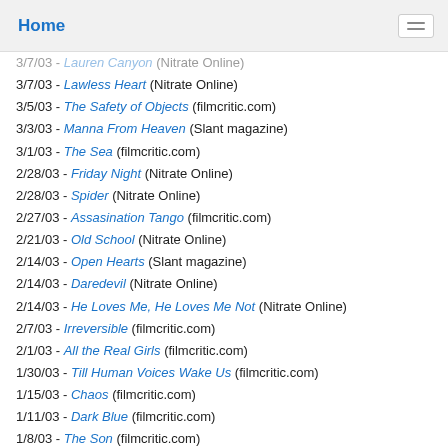Home
3/7/03 - Lawless Heart (Nitrate Online)
3/5/03 - The Safety of Objects (filmcritic.com)
3/3/03 - Manna From Heaven (Slant magazine)
3/1/03 - The Sea (filmcritic.com)
2/28/03 - Friday Night (Nitrate Online)
2/28/03 - Spider (Nitrate Online)
2/27/03 - Assasination Tango (filmcritic.com)
2/21/03 - Old School (Nitrate Online)
2/14/03 - Open Hearts (Slant magazine)
2/14/03 - Daredevil (Nitrate Online)
2/14/03 - He Loves Me, He Loves Me Not (Nitrate Online)
2/7/03 - Irreversible (filmcritic.com)
2/1/03 - All the Real Girls (filmcritic.com)
1/30/03 - Till Human Voices Wake Us (filmcritic.com)
1/15/03 - Chaos (filmcritic.com)
1/11/03 - Dark Blue (filmcritic.com)
1/8/03 - The Son (filmcritic.com)
1/7/03 - Love Liza (Popmatters.com)
1/3/03 - Lost in La Mancha (filmcritic.com)
12/16/02 - Spun (Slant magazine)